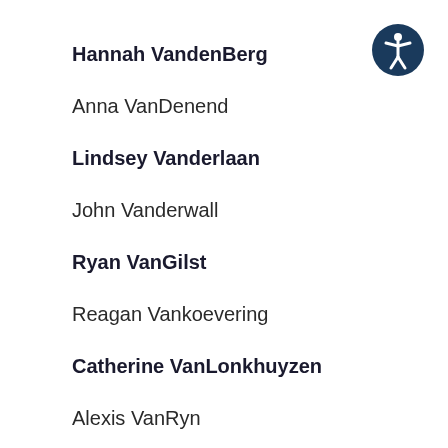Hannah VandenBerg
Anna VanDenend
Lindsey Vanderlaan
John Vanderwall
Ryan VanGilst
Reagan Vankoevering
Catherine VanLonkhuyzen
Alexis VanRyn
[Figure (logo): Accessibility icon: white person figure with arms and legs spread inside a dark blue circle]